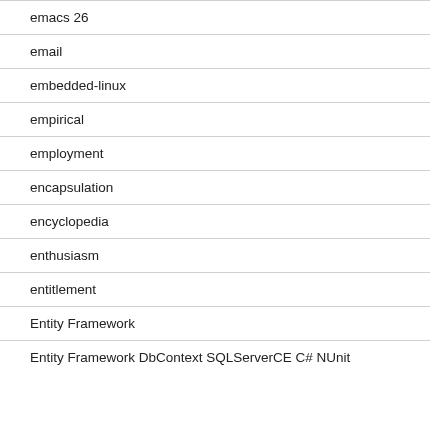emacs 26
email
embedded-linux
empirical
employment
encapsulation
encyclopedia
enthusiasm
entitlement
Entity Framework
Entity Framework DbContext SQLServerCE C# NUnit